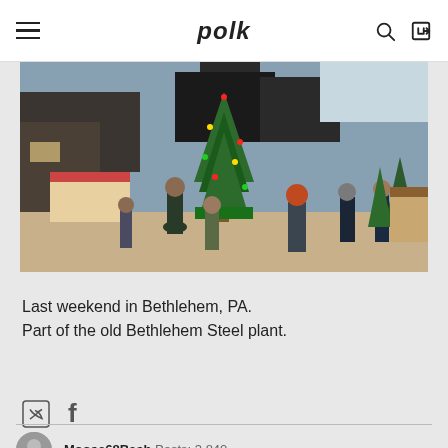polk
[Figure (photo): Outdoor Christmas market scene at the old Bethlehem Steel plant in Bethlehem, PA. People walking around a large decorated Christmas tree in a plaza with vendor stalls and evergreen trees.]
Last weekend in Bethlehem, PA.
Part of the old Bethlehem Steel plant.
Moose68Bash  Posts: 3,840